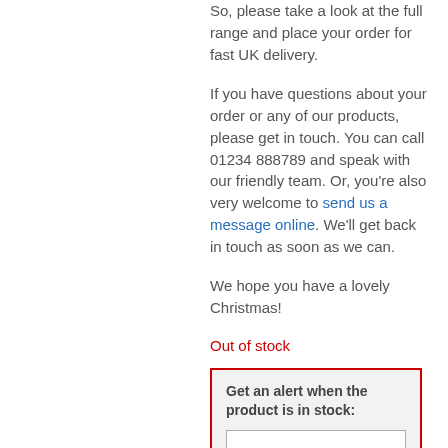So, please take a look at the full range and place your order for fast UK delivery.
If you have questions about your order or any of our products, please get in touch. You can call 01234 888789 and speak with our friendly team. Or, you're also very welcome to send us a message online. We'll get back in touch as soon as we can.
We hope you have a lovely Christmas!
Out of stock
Get an alert when the product is in stock: